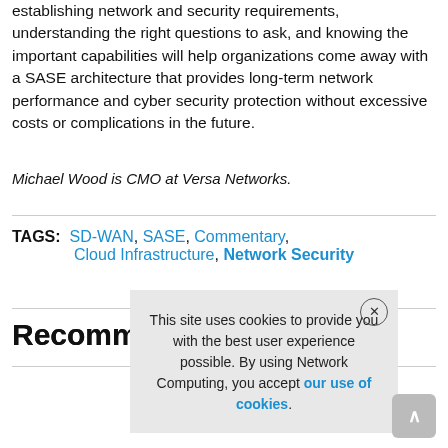establishing network and security requirements, understanding the right questions to ask, and knowing the important capabilities will help organizations come away with a SASE architecture that provides long-term network performance and cyber security protection without excessive costs or complications in the future.
Michael Wood is CMO at Versa Networks.
TAGS: SD-WAN, SASE, Commentary, Cloud Infrastructure, Network Security
Recommended
This site uses cookies to provide you with the best user experience possible. By using Network Computing, you accept our use of cookies.